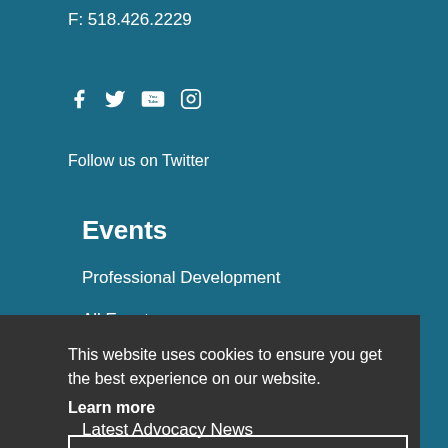F: 518.426.2229
[Figure (illustration): Social media icons: Facebook, Twitter, YouTube, Instagram]
Follow us on Twitter
Events
Professional Development
All Events
This website uses cookies to ensure you get the best experience on our website.
Learn more
Got it!
Latest Advocacy News